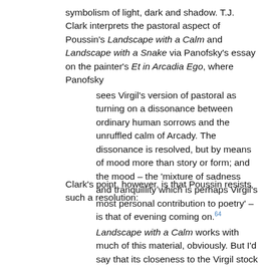symbolism of light, dark and shadow. T.J. Clark interprets the pastoral aspect of Poussin's Landscape with a Calm and Landscape with a Snake via Panofsky's essay on the painter's Et in Arcadia Ego, where Panofsky
sees Virgil's version of pastoral as turning on a dissonance between ordinary human sorrows and the unruffled calm of Arcady. The dissonance is resolved, but by means of mood more than story or form; and the mood – the 'mixture of sadness and tranquillity which is perhaps Virgil's most personal contribution to poetry' – is that of evening coming on.64
Clark's point, however, is that Poussin resists such a resolution:
Landscape with a Calm works with much of this material, obviously. But I'd say that its closeness to the Virgil stock phrases only makes its refusal quite to